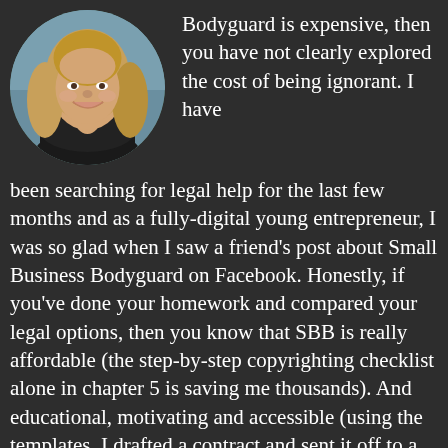[Figure (photo): Circular portrait photo of a smiling young woman with long blonde hair, wearing a dark top, photographed outdoors.]
Bodyguard is expensive, then you have not clearly explored the cost of being ignorant. I have been searching for legal help for the last few months and as a fully-digital young entrepreneur, I was so glad when I saw a friend's post about Small Business Bodyguard on Facebook. Honestly, if you've done your homework and compared your legal options, then you know that SBB is really affordable (the step-by-step copyrighting checklist alone in chapter 5 is saving me thousands). And educational, motivating and accessible (using the templates, I drafted a contract and sent it off to a lawyer for